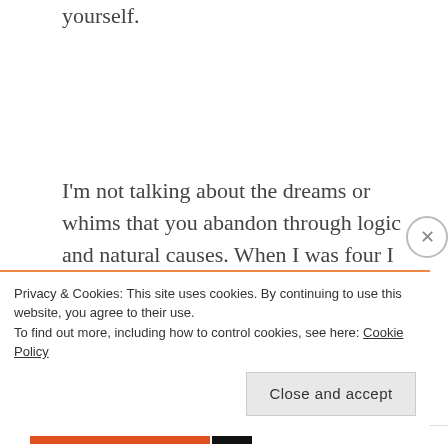yourself.
I'm not talking about the dreams or whims that you abandon through logic and natural causes. When I was four I wanted to be a Fairy Princess – I grew out of that (although my husband might disagree with me). At nine I wanted to be the first female president of America. Bless my little ambitious (and British) 9
Privacy & Cookies: This site uses cookies. By continuing to use this website, you agree to their use.
To find out more, including how to control cookies, see here: Cookie Policy
Close and accept